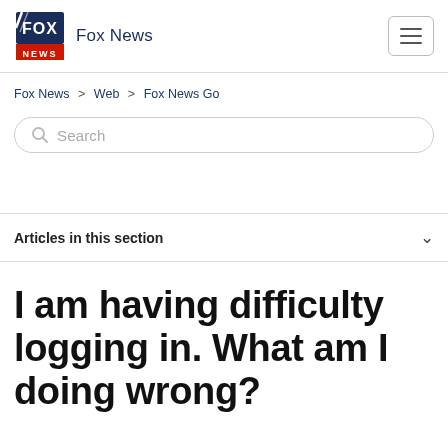Fox News
Fox News > Web > Fox News Go
Search
Articles in this section
I am having difficulty logging in. What am I doing wrong?